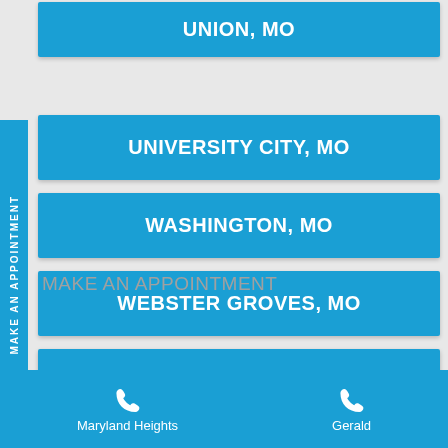UNION, MO
UNIVERSITY CITY, MO
WASHINGTON, MO
WEBSTER GROVES, MO
WOODSON TERRACE, MO
MAKE AN APPOINTMENT
Maryland Heights   Gerald